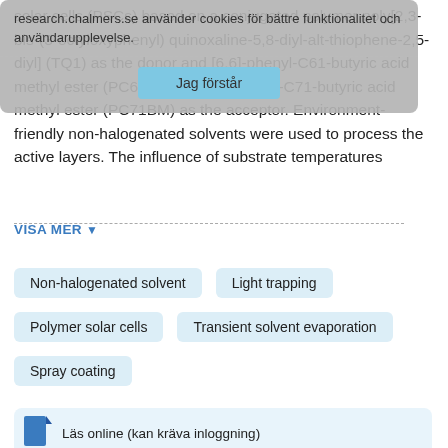solar cells (PSCs) based on a conjugated polymer poly[2,3-bis-(3-octyloxyphenyl) quinoxaline-5,8-diyl-alt-thiophene-2,5-diyl] (TQ1) as the donor and [6,6]-phenyl-C61-butyric acid methyl ester (PC61BM) or [6,6]-phenyl-C71-butyric acid methyl ester (PC71BM) as the acceptor. Environment-friendly non-halogenated solvents were used to process the active layers. The influence of substrate temperatures
research.chalmers.se använder cookies för bättre funktionalitet och användarupplevelse.
Jag förstår
VISA MER
Non-halogenated solvent
Light trapping
Polymer solar cells
Transient solvent evaporation
Spray coating
Läs online (kan kräva inloggning)